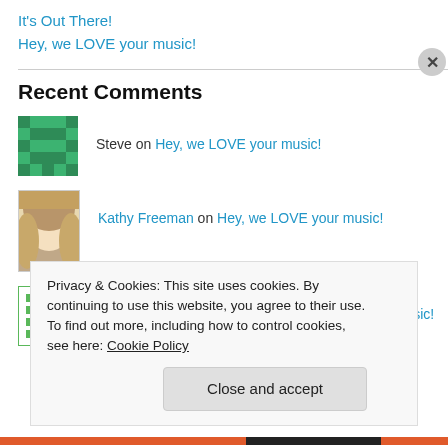It's Out There!
Hey, we LOVE your music!
Recent Comments
Steve on Hey, we LOVE your music!
Kathy Freeman on Hey, we LOVE your music!
http://www.lowsodium… on Hey, we LOVE your music!
Privacy & Cookies: This site uses cookies. By continuing to use this website, you agree to their use.
To find out more, including how to control cookies, see here: Cookie Policy
Close and accept